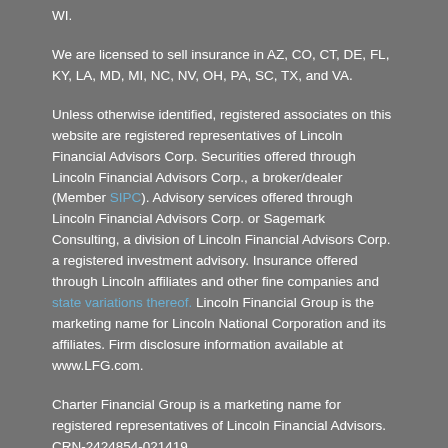WI.
We are licensed to sell insurance in AZ, CO, CT, DE, FL, KY, LA, MD, MI, NC, NV, OH, PA, SC, TX, and VA.
Unless otherwise identified, registered associates on this website are registered representatives of Lincoln Financial Advisors Corp. Securities offered through Lincoln Financial Advisors Corp., a broker/dealer (Member SIPC). Advisory services offered through Lincoln Financial Advisors Corp. or Sagemark Consulting, a division of Lincoln Financial Advisors Corp. a registered investment advisory. Insurance offered through Lincoln affiliates and other fine companies and state variations thereof. Lincoln Financial Group is the marketing name for Lincoln National Corporation and its affiliates. Firm disclosure information available at www.LFG.com.
Charter Financial Group is a marketing name for registered representatives of Lincoln Financial Advisors.  CRN-2424854-021419